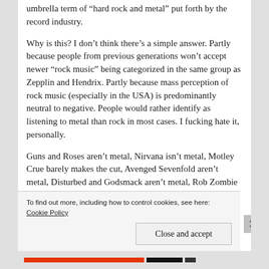umbrella term of “hard rock and metal” put forth by the record industry.
Why is this? I don’t think there’s a simple answer. Partly because people from previous generations won’t accept newer “rock music” being categorized in the same group as Zepplin and Hendrix. Partly because mass perception of rock music (especially in the USA) is predominantly neutral to negative. People would rather identify as listening to metal than rock in most cases. I fucking hate it, personally.
Guns and Roses aren’t metal, Nirvana isn’t metal, Motley Crue barely makes the cut, Avenged Sevenfold aren’t metal, Disturbed and Godsmack aren’t metal, Rob Zombie kind of strides that line between rock and metal,
Privacy & Cookies: This site uses cookies. By continuing to use this website, you agree to their use.
To find out more, including how to control cookies, see here: Cookie Policy
Close and accept